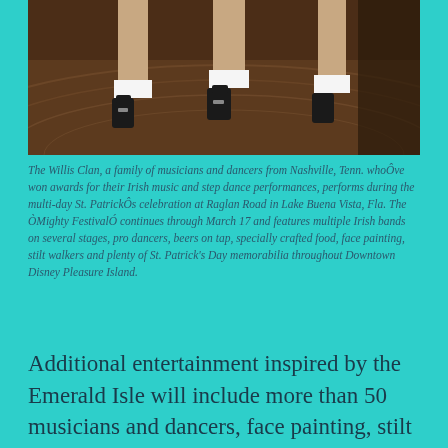[Figure (photo): Photo showing Irish step dancers' feet and legs wearing black dance shoes and white socks on a wooden stage floor]
The Willis Clan, a family of musicians and dancers from Nashville, Tenn. whoÕve won awards for their Irish music and step dance performances, performs during the multi-day St. PatrickÕs celebration at Raglan Road in Lake Buena Vista, Fla. The ÒMighty FestivalÓ continues through March 17 and features multiple Irish bands on several stages, pro dancers, beers on tap, specially crafted food, face painting, stilt walkers and plenty of St. Patrick's Day memorabilia throughout Downtown Disney Pleasure Island.
Additional entertainment inspired by the Emerald Isle will include more than 50 musicians and dancers, face painting, stilt walkers, living statues and giveaways. Guests will find it's easy